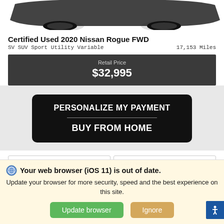[Figure (photo): Partial bottom view of a Nissan Rogue vehicle on white background]
Certified Used 2020 Nissan Rogue FWD
SV SUV Sport Utility Variable    17,153 Miles
Retail Price
$32,995
[Figure (other): Black rounded button with text: PERSONALIZE MY PAYMENT / BUY FROM HOME]
*First Name
*Last Name
Your web browser (iOS 11) is out of date. Update your browser for more security, speed and the best experience on this site.
Update browser
Ignore